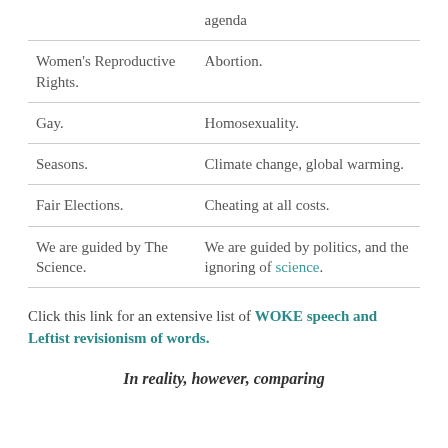|  | agenda |
| Women's Reproductive Rights. | Abortion. |
| Gay. | Homosexuality. |
| Seasons. | Climate change, global warming. |
| Fair Elections. | Cheating at all costs. |
| We are guided by The Science. | We are guided by politics, and the ignoring of science. |
Click this link for an extensive list of WOKE speech and Leftist revisionism of words.
In reality, however, comparing